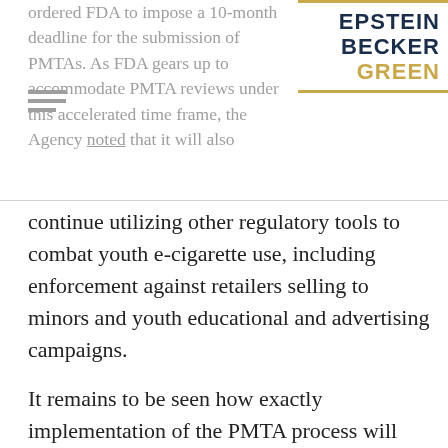ordered FDA to impose a 10-month deadline for the submission of PMTAs. As FDA gears up to accommodate PMTA reviews under this accelerated time frame, the Agency noted that it will also
[Figure (logo): Epstein Becker Green law firm logo with gold horizontal border lines and dark navy bold text]
continue utilizing other regulatory tools to combat youth e-cigarette use, including enforcement against retailers selling to minors and youth educational and advertising campaigns.
It remains to be seen how exactly implementation of the PMTA process will impact access to e-cigarettes. However, it's likely that only large, well-funded manufacturers will be able to jump through the regulatory hurdles needed to obtain authorization for their products, which will in turn limit access, at least to some extent (as many small